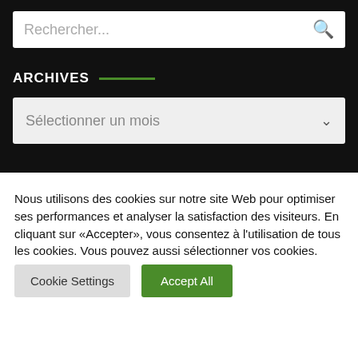Rechercher...
ARCHIVES
Sélectionner un mois
Nous utilisons des cookies sur notre site Web pour optimiser ses performances et analyser la satisfaction des visiteurs. En cliquant sur «Accepter», vous consentez à l'utilisation de tous les cookies. Vous pouvez aussi sélectionner vos cookies.
Cookie Settings
Accept All